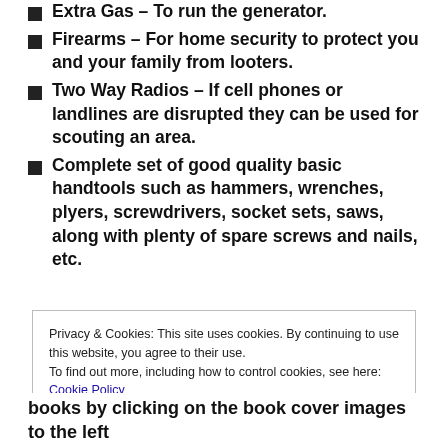Extra Gas – To run the generator.
Firearms – For home security to protect you and your family from looters.
Two Way Radios – If cell phones or landlines are disrupted they can be used for scouting an area.
Complete set of good quality basic handtools such as hammers, wrenches, plyers, screwdrivers, socket sets, saws, along with plenty of spare screws and nails, etc.
Privacy & Cookies: This site uses cookies. By continuing to use this website, you agree to their use.
To find out more, including how to control cookies, see here: Cookie Policy
books by clicking on the book cover images to the left